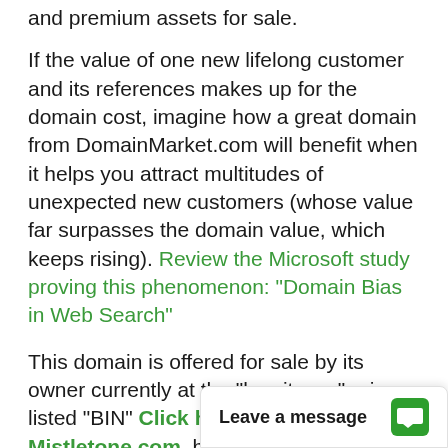and premium assets for sale.
If the value of one new lifelong customer and its references makes up for the domain cost, imagine how a great domain from DomainMarket.com will benefit when it helps you attract multitudes of unexpected new customers (whose value far surpasses the domain value, which keeps rising). Review the Microsoft study proving this phenomenon: "Domain Bias in Web Search"
This domain is offered for sale by its owner currently at the "buy it now" price listed "BIN" Click here to purchase Mistletone.com, but could be withdrawn at any time or its price potentially substantially raised. Also, once sold, the next owner, your domain competitor, would likely never re-sell it again, especially to his comp... take all your custome...
Leave a message